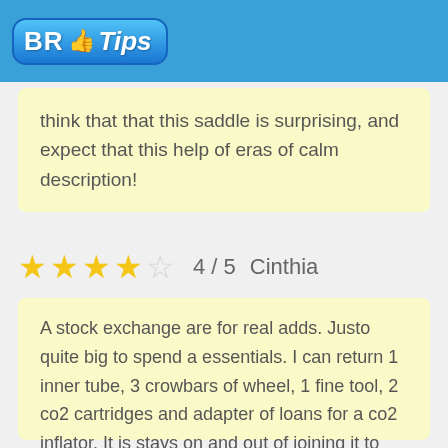BR Tips
think that that this saddle is surprising, and expect that this help of eras of calm description!
4 / 5  Cinthia
A stock exchange are for real adds. Justo quite big to spend a essentials. I can return 1 inner tube, 3 crowbars of wheel, 1 fine tool, 2 co2 cartridges and adapter of loans for a co2 inflator. It is stays on and out of joining it to him to way so only likes master. A capacity to add a light of row is awesome.